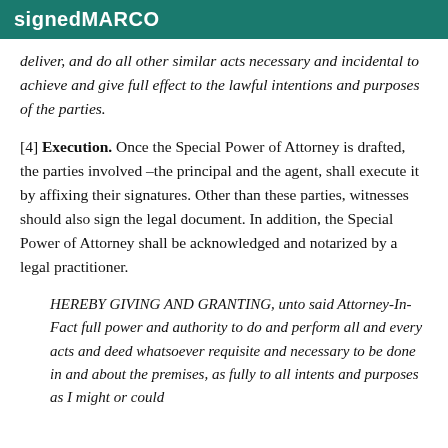signedMARCO
deliver, and do all other similar acts necessary and incidental to achieve and give full effect to the lawful intentions and purposes of the parties.
[4] Execution. Once the Special Power of Attorney is drafted, the parties involved –the principal and the agent, shall execute it by affixing their signatures. Other than these parties, witnesses should also sign the legal document. In addition, the Special Power of Attorney shall be acknowledged and notarized by a legal practitioner.
HEREBY GIVING AND GRANTING, unto said Attorney-In-Fact full power and authority to do and perform all and every acts and deed whatsoever requisite and necessary to be done in and about the premises, as fully to all intents and purposes as I might or could